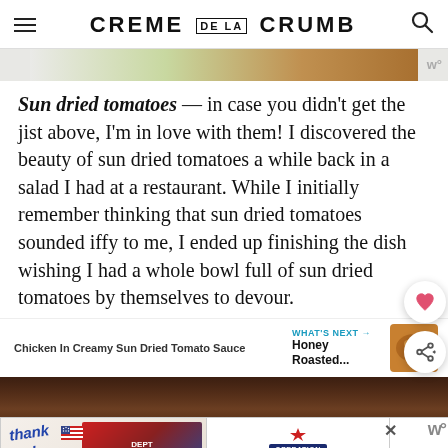CREME DE LA CRUMB
[Figure (photo): Partial view of a food advertisement banner at top of page]
Sun dried tomatoes — in case you didn't get the jist above, I'm in love with them! I discovered the beauty of sun dried tomatoes a while back in a salad I had at a restaurant. While I initially remember thinking that sun dried tomatoes sounded iffy to me, I ended up finishing the dish wishing I had a whole bowl full of sun dried tomatoes by themselves to devour.
Chicken In Creamy Sun Dried Tomato Sauce
WHAT'S NEXT → Honey Roasted...
[Figure (photo): Food photo showing a creamy dish in a pan, partially visible at bottom of page]
[Figure (photo): Advertisement overlay at bottom: Thank you note with firefighters and Operation Gratitude banner]